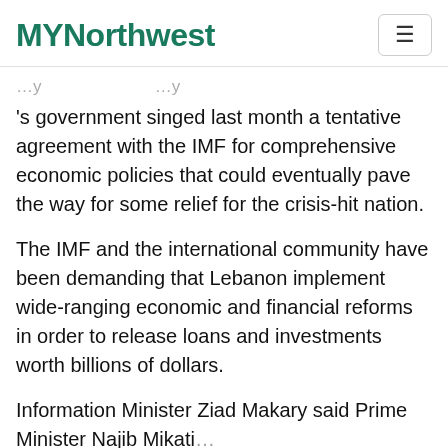MYNorthwest
's government singed last month a tentative agreement with the IMF for comprehensive economic policies that could eventually pave the way for some relief for the crisis-hit nation.
The IMF and the international community have been demanding that Lebanon implement wide-ranging economic and financial reforms in order to release loans and investments worth billions of dollars.
Information Minister Ziad Makary said Prime Minister Najib Mikati's government…